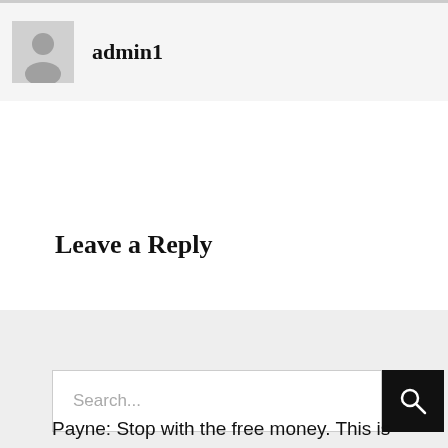[Figure (illustration): Author avatar placeholder icon showing a generic person silhouette in gray]
admin1
Leave a Reply
[Figure (screenshot): Search bar with placeholder text 'Search...' and a black search button with magnifying glass icon]
Payne: Stop with the free money. This is